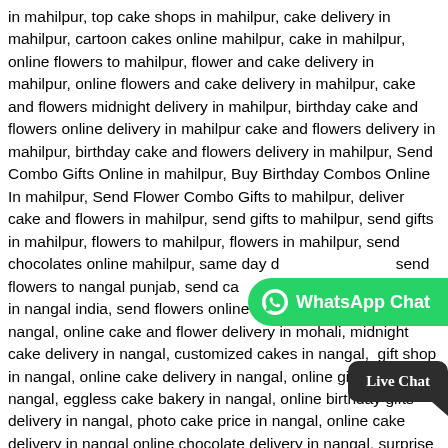in mahilpur, top cake shops in mahilpur, cake delivery in mahilpur, cartoon cakes online mahilpur, cake in mahilpur, online flowers to mahilpur, flower and cake delivery in mahilpur, online flowers and cake delivery in mahilpur, cake and flowers midnight delivery in mahilpur, birthday cake and flowers online delivery in mahilpur cake and flowers delivery in mahilpur, birthday cake and flowers delivery in mahilpur, Send Combo Gifts Online in mahilpur, Buy Birthday Combos Online In mahilpur, Send Flower Combo Gifts to mahilpur, deliver cake and flowers in mahilpur, send gifts to mahilpur, send gifts in mahilpur, flowers to mahilpur, flowers in mahilpur, send chocolates online mahilpur, same day d... send flowers to nangal punjab, send ca... send flowers in nangal india, send flowers online nangal, send flowers in nangal, online cake and flower delivery in mohali, midnight cake delivery in nangal, customized cakes in nangal, gift shop in nangal, online cake delivery in nangal, online gift delivery in nangal, eggless cake bakery in nangal, online birthday gifts delivery in nangal, photo cake price in nangal, online cake delivery in nangal online chocolate delivery in nangal, surprise gift delivery in nangal, online cake and gifts delivery in nangal, surprise gift delivery in... online cake delivery in nangal, cake shop in nangal, cak... me, cake shop near nangal, order cake online nangal, order cake in nangal, order cake online near me, birthday cake online nangal, ord...
[Figure (other): WhatsApp Chat button overlay — green rounded button with WhatsApp logo icon and text 'WhatsApp Chat']
[Figure (other): Live Chat button overlay — dark rounded speech-bubble button with text 'Live Chat' in cursive font]